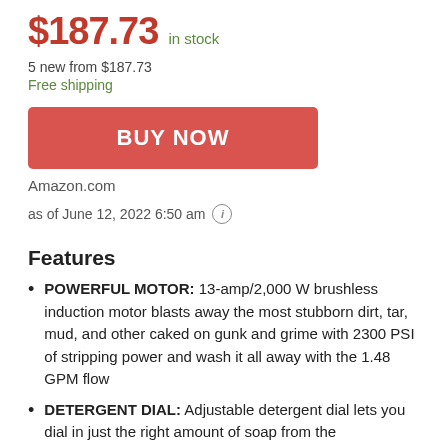$187.73 in stock
5 new from $187.73
Free shipping
BUY NOW
Amazon.com
as of June 12, 2022 6:50 am
Features
POWERFUL MOTOR: 13-amp/2,000 W brushless induction motor blasts away the most stubborn dirt, tar, mud, and other caked on gunk and grime with 2300 PSI of stripping power and wash it all away with the 1.48 GPM flow
DETERGENT DIAL: Adjustable detergent dial lets you dial in just the right amount of soap from the